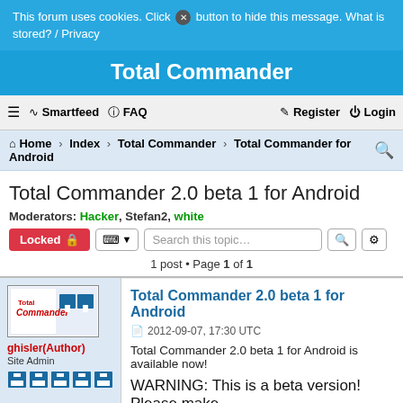This forum uses cookies. Click [x] button to hide this message. What is stored? / Privacy
Total Commander
≡  Smartfeed  ? FAQ   Register  Login
Home › Index › Total Commander › Total Commander for Android
Total Commander 2.0 beta 1 for Android
Moderators: Hacker, Stefan2, white
Locked  [tools]  Search this topic...  1 post • Page 1 of 1
ghisler(Author)
Site Admin
Total Commander 2.0 beta 1 for Android
2012-09-07, 17:30 UTC
Total Commander 2.0 beta 1 for Android is available now!
WARNING: This is a beta version! Please make